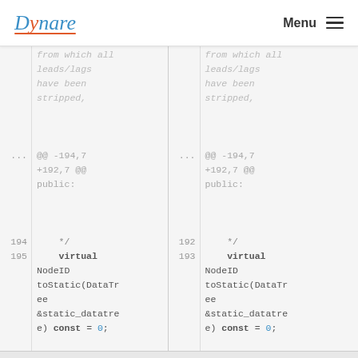Dynare | Menu
[Figure (screenshot): Code diff view showing two panes side-by-side with line numbers. Left pane shows lines around 194-196 and right pane shows lines around 192-194. Both panes show C++ code for a virtual NodeID toStatic(DataTree &static_datatree) const = 0; method and a comment //! Try to normalize an equation linear in its endogenous variable. Diff header shows @@ -194,7 +192,7 @@ public:]